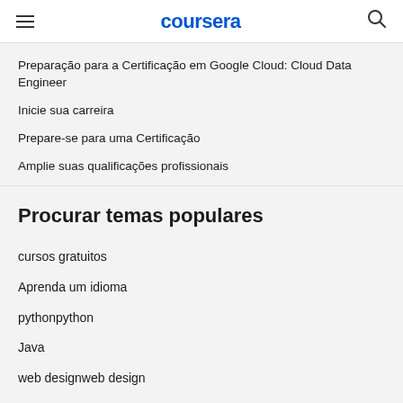coursera
Preparação para a Certificação em Google Cloud: Cloud Data Engineer
Inicie sua carreira
Prepare-se para uma Certificação
Amplie suas qualificações profissionais
Procurar temas populares
cursos gratuitos
Aprenda um idioma
pythonpython
Java
web designweb design